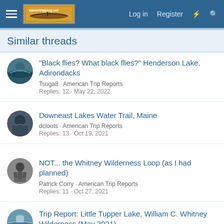Log in  Register
Similar threads
"Black flies? What black flies?" Henderson Lake, Adirondacks
Tsuga8 · American Trip Reports
Replies: 12 · May 22, 2022
Downeast Lakes Water Trail, Maine
dcloots · American Trip Reports
Replies: 13 · Oct 19, 2021
NOT... the Whitney Wilderness Loop (as I had planned)
Patrick Corry · American Trip Reports
Replies: 11 · Oct 27, 2021
Trip Report: Little Tupper Lake, William C. Whitney Wilderness (May 2021)